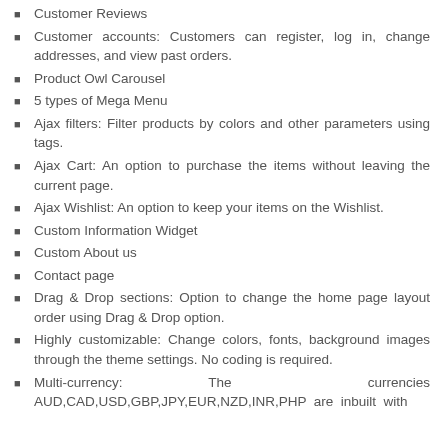Customer Reviews
Customer accounts: Customers can register, log in, change addresses, and view past orders.
Product Owl Carousel
5 types of Mega Menu
Ajax filters: Filter products by colors and other parameters using tags.
Ajax Cart: An option to purchase the items without leaving the current page.
Ajax Wishlist: An option to keep your items on the Wishlist.
Custom Information Widget
Custom About us
Contact page
Drag & Drop sections: Option to change the home page layout order using Drag & Drop option.
Highly customizable: Change colors, fonts, background images through the theme settings. No coding is required.
Multi-currency: The currencies AUD,CAD,USD,GBP,JPY,EUR,NZD,INR,PHP are inbuilt with